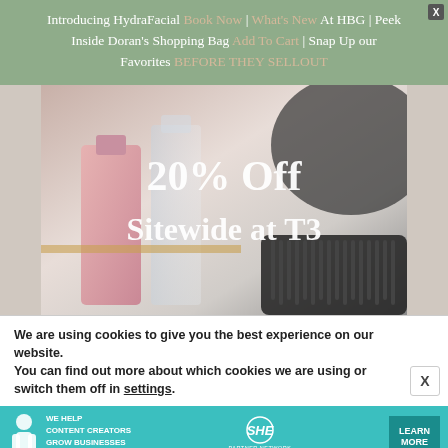Introducing HydraFacial Book Now | What's New At HBG | Peek Inside Doran's Shopping Bag Add To Cart | Snap Up our Favorites BEFORE THEY SELLOUT
[Figure (photo): T3 promotional image showing beauty products - perfume bottles and a hair brush on a marble surface with text overlay '20% Off Sitewide at T3']
We are using cookies to give you the best experience on our website.
You can find out more about which cookies we are using or switch them off in settings.
[Figure (infographic): SHE Media Partner Network advertisement banner in teal color with tagline 'We help content creators grow businesses through...' with a Learn More button]